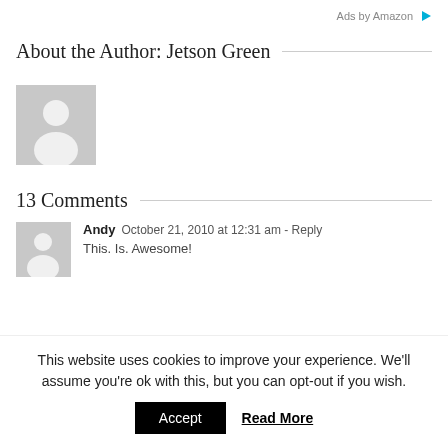Ads by Amazon
About the Author: Jetson Green
[Figure (illustration): Gray placeholder avatar icon showing a person silhouette]
13 Comments
[Figure (illustration): Gray placeholder avatar icon (small) for comment author Andy]
Andy   October 21, 2010 at 12:31 am - Reply
This. Is. Awesome!
This website uses cookies to improve your experience. We'll assume you're ok with this, but you can opt-out if you wish.
Accept   Read More